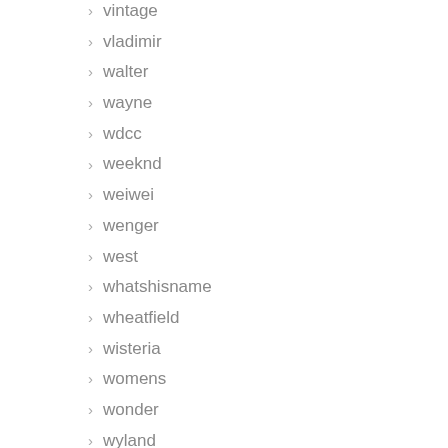vintage
vladimir
walter
wayne
wdcc
weeknd
weiwei
wenger
west
whatshisname
wheatfield
wisteria
womens
wonder
wyland
xena